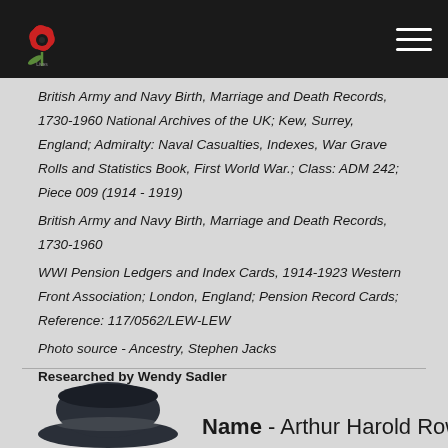British Army and Navy Birth, Marriage and Death Records, 1730-1960 National Archives of the UK; Kew, Surrey, England; Admiralty: Naval Casualties, Indexes, War Grave Rolls and Statistics Book, First World War.; Class: ADM 242; Piece 009 (1914 - 1919)
British Army and Navy Birth, Marriage and Death Records, 1730-1960
WWI Pension Ledgers and Index Cards, 1914-1923 Western Front Association; London, England; Pension Record Cards; Reference: 117/0562/LEW-LEW
Photo source - Ancestry, Stephen Jacks
Researched by Wendy Sadler
[Figure (photo): Partial photo of a WWI sailor's hat at the bottom of the page]
Name - Arthur Harold Rowe